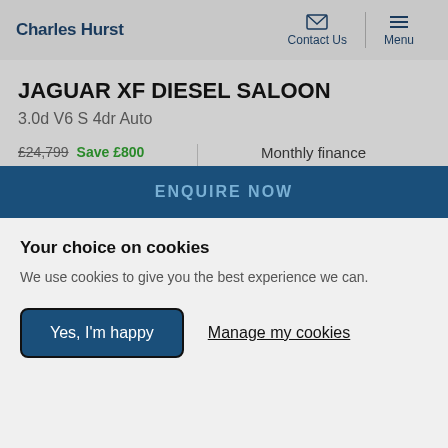Charles Hurst | Contact Us | Menu
JAGUAR XF DIESEL SALOON
3.0d V6 S 4dr Auto
£24,799 Save £800
£23,999
€28,347.62
OR
Monthly finance
£512.27pm
Representative example
ENQUIRE NOW
Your choice on cookies
We use cookies to give you the best experience we can.
Yes, I'm happy  Manage my cookies